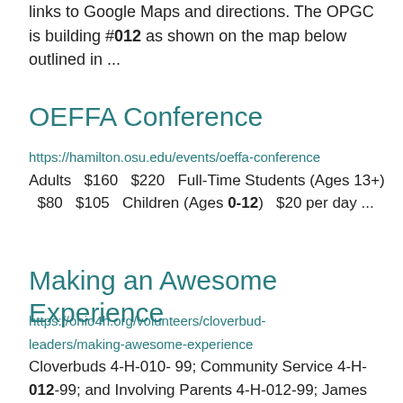links to Google Maps and directions. The OPGC is building #012 as shown on the map below outlined in ...
OEFFA Conference
https://hamilton.osu.edu/events/oeffa-conference Adults $160 $220 Full-Time Students (Ages 13+) $80 $105 Children (Ages 0-12) $20 per day ...
Making an Awesome Experience
https://ohio4h.org/volunteers/cloverbud-leaders/making-awesome-experience Cloverbuds 4-H-010- 99; Community Service 4-H-012-99; and Involving Parents 4-H-012-99; James Shrimp...